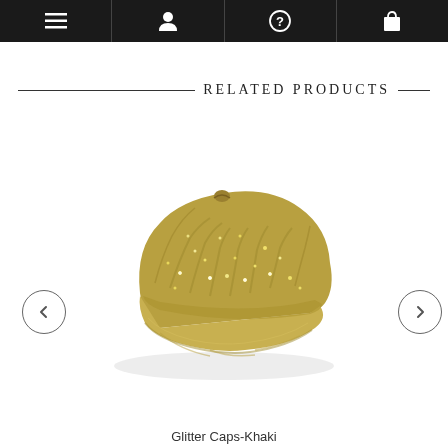Navigation bar with menu, profile, help, and cart icons
RELATED PRODUCTS
[Figure (photo): A khaki/gold colored baseball cap with glitter/rhinestone embellishments on a white background]
Glitter Caps-Khaki